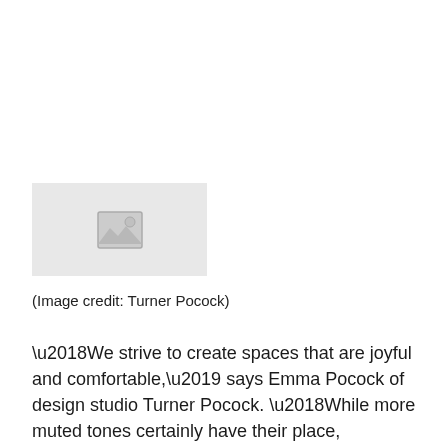[Figure (photo): Placeholder image with a grey background and a camera/image icon in the center]
(Image credit: Turner Pocock)
‘We strive to create spaces that are joyful and comfortable,’ says Emma Pocock of design studio Turner Pocock. ‘While more muted tones certainly have their place,